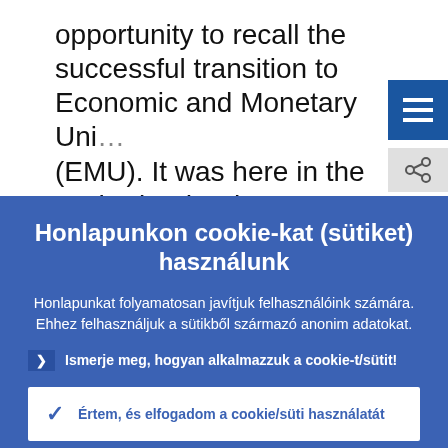opportunity to recall the successful transition to Economic and Monetary Union (EMU). It was here in the Netherlands where
Honlapunkon cookie-kat (sütiket) használunk
Honlapunkat folyamatosan javítjuk felhasználóink számára. Ehhez felhasználjuk a sütikből származó anonim adatokat.
Ismerje meg, hogyan alkalmazzuk a cookie-t/sütit!
Értem, és elfogadom a cookie/süti használatát
Visszautasítom a cookie/süti használatát